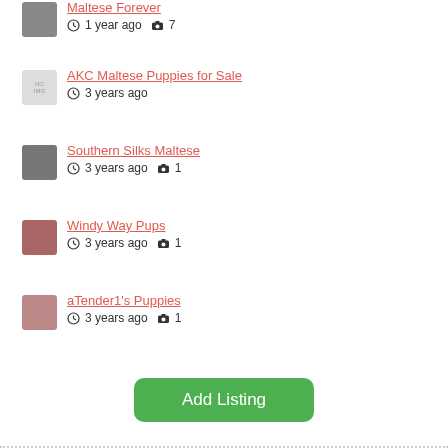Maltese Forever — 1 year ago, 7 photos
AKC Maltese Puppies for Sale — 3 years ago
Southern Silks Maltese — 3 years ago, 1 photo
Windy Way Pups — 3 years ago, 1 photo
aTender1's Puppies — 3 years ago, 1 photo
Add Listing